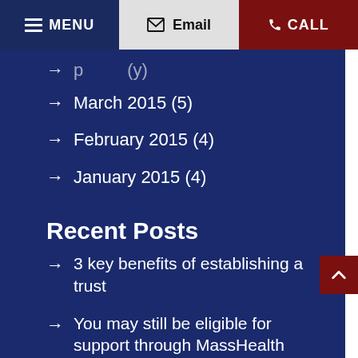MENU | Email | CALL
March 2015 (5)
February 2015 (4)
January 2015 (4)
Recent Posts
3 key benefits of establishing a trust
You may still be eligible for support through MassHealth
The importance of health care directives and powers of attorney